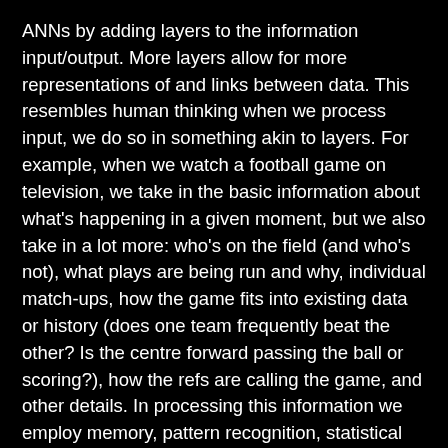ANNs by adding layers to the information input/output. More layers allow for more representations of and links between data. This resembles human thinking when we process input, we do so in something akin to layers. For example, when we watch a football game on television, we take in the basic information about what's happening in a given moment, but we also take in a lot more: who's on the field (and who's not), what plays are being run and why, individual match-ups, how the game fits into existing data or history (does one team frequently beat the other? Is the centre forward passing the ball or scoring?), how the refs are calling the game, and other details. In processing this information we employ memory, pattern recognition, statistical and strategic analysis, comparison, prediction, and other cognitive capabilities. Deep learning attempts to capture those layers.